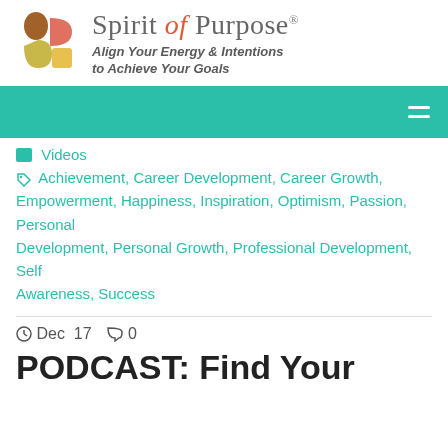[Figure (logo): Spirit of Purpose logo with colorful S-shaped icon and tagline 'Align Your Energy & Intentions to Achieve Your Goals']
[Figure (screenshot): Teal/green navigation bar with hamburger menu icon on the right]
Videos
Achievement, Career Development, Career Growth, Empowerment, Happiness, Inspiration, Optimism, Passion, Personal Development, Personal Growth, Professional Development, Self Awareness, Success
Dec  17   0
PODCAST: Find Your